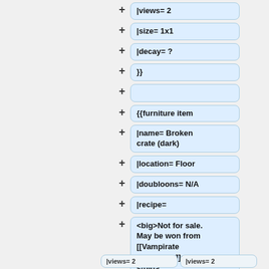|views= 2
|size= 1x1
|decay= ?
}}
{{furniture item
|name= Broken crate (dark)
|location= Floor
|doubloons= N/A
|recipe=
<big>Not for sale. May be won from [[Vampirate expedition]]s. </big>
|views= 2
|views= 2